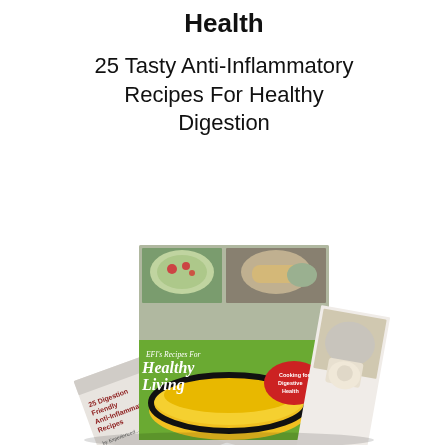Health
25 Tasty Anti-Inflammatory Recipes For Healthy Digestion
[Figure (photo): Stack of cookbooks titled 'EFI's Recipes For Healthy Living' and '25 Digestion Friendly Anti-Inflammatory Recipes', with images of healthy food dishes on the covers, including a yellow soup bowl and plates with salads and fish.]